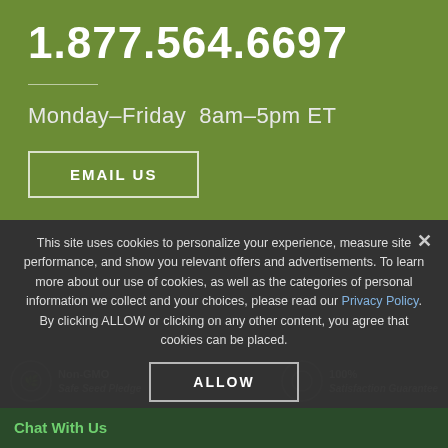1.877.564.6697
Monday–Friday  8am–5pm ET
EMAIL US
This site uses cookies to personalize your experience, measure site performance, and show you relevant offers and advertisements. To learn more about our use of cookies, as well as the categories of personal information we collect and your choices, please read our Privacy Policy. By clicking ALLOW or clicking on any other content, you agree that cookies can be placed.
ALLOW
Non-GMO Safe Seed Pledge
100% Satisfaction Guarantee
Chat With Us